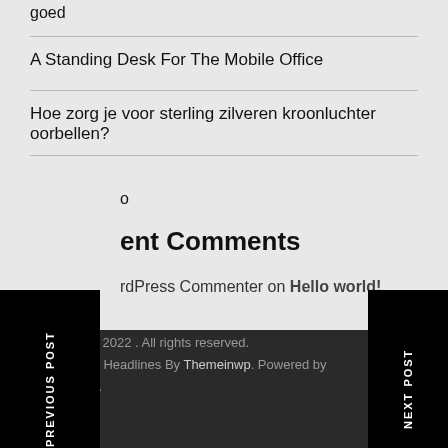goed
A Standing Desk For The Mobile Office
Hoe zorg je voor sterling zilveren kroonluchter oorbellen?
o
ent Comments
rdPress Commenter on Hello world!
Copyright © 2022 . All rights reserved. Theme: The Headlines By Themeinwp. Powered by WordPress.